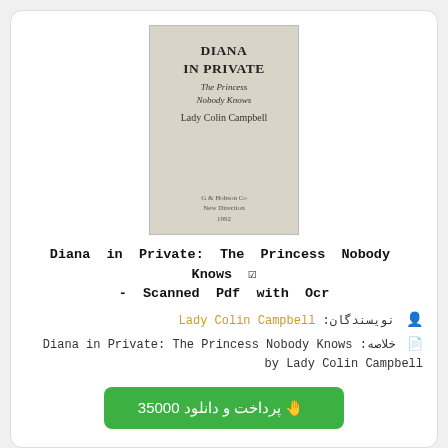[Figure (photo): Book cover of 'Diana in Private: The Princess Nobody Knows' by Lady Colin Campbell, published by G&H Hobson, beige/gray background with serif text]
Diana in Private: The Princess Nobody Knows ✓ - Scanned Pdf with Ocr
نویسندگان: Lady Colin Campbell
خلاصه: Diana in Private: The Princess Nobody Knows by Lady Colin Campbell
پرداخت و دانلود 35000
[Figure (photo): Partial book cover showing 'THE REAL DIANA' text on a light background]